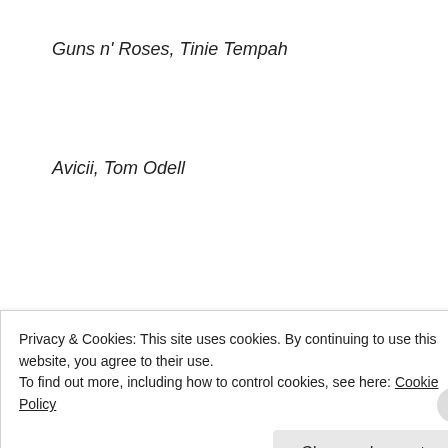Guns n' Roses, Tinie Tempah
Avicii, Tom Odell
[Figure (other): Green advertisement banner with white oval shapes, labeled 'Advertisements']
Mumford & Sons, Ke$ha, Pharell
David Guetta feat. Usher, One Direction,
Privacy & Cookies: This site uses cookies. By continuing to use this website, you agree to their use.
To find out more, including how to control cookies, see here: Cookie Policy
Close and accept